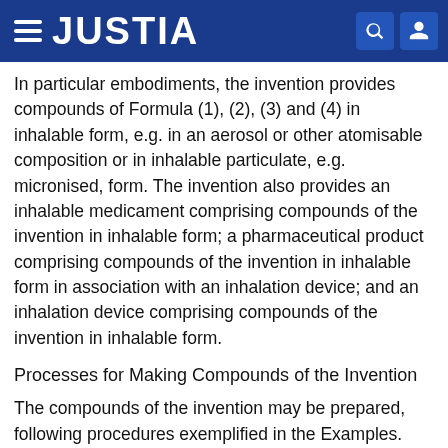JUSTIA
In particular embodiments, the invention provides compounds of Formula (1), (2), (3) and (4) in inhalable form, e.g. in an aerosol or other atomisable composition or in inhalable particulate, e.g. micronised, form. The invention also provides an inhalable medicament comprising compounds of the invention in inhalable form; a pharmaceutical product comprising compounds of the invention in inhalable form in association with an inhalation device; and an inhalation device comprising compounds of the invention in inhalable form.
Processes for Making Compounds of the Invention
The compounds of the invention may be prepared, following procedures exemplified in the Examples.
In the reactions described, reactive functional groups, where desired in the final product (e.g. hydroxy, amino